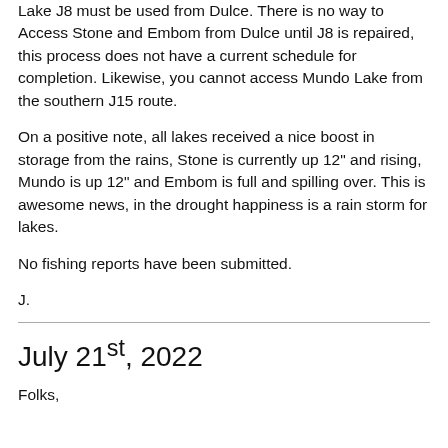Lake J8 must be used from Dulce. There is no way to Access Stone and Embom from Dulce until J8 is repaired, this process does not have a current schedule for completion. Likewise, you cannot access Mundo Lake from the southern J15 route.
On a positive note, all lakes received a nice boost in storage from the rains, Stone is currently up 12" and rising, Mundo is up 12" and Embom is full and spilling over. This is awesome news, in the drought happiness is a rain storm for lakes.
No fishing reports have been submitted.
J.
July 21st, 2022
Folks,